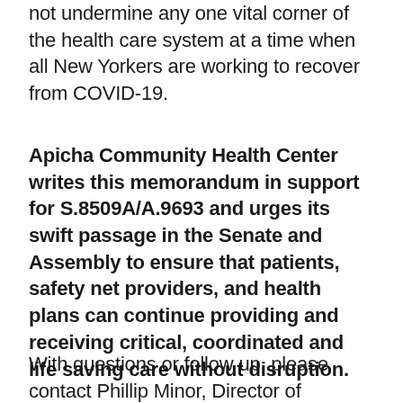not undermine any one vital corner of the health care system at a time when all New Yorkers are working to recover from COVID-19.
Apicha Community Health Center writes this memorandum in support for S.8509A/A.9693 and urges its swift passage in the Senate and Assembly to ensure that patients, safety net providers, and health plans can continue providing and receiving critical, coordinated and life saving care without disruption.
With questions or follow up, please contact Phillip Minor, Director of